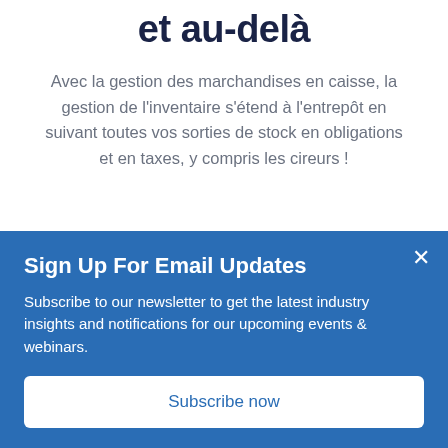et au-delà
Avec la gestion des marchandises en caisse, la gestion de l'inventaire s'étend à l'entrepôt en suivant toutes vos sorties de stock en obligations et en taxes, y compris les cireurs !
[Figure (photo): Partial photo strip showing what appears to be shelving or warehouse racks, partially obscured by a modal popup.]
Sign Up For Email Updates
Subscribe to our newsletter to get the latest industry insights and notifications for our upcoming events & webinars.
Subscribe now